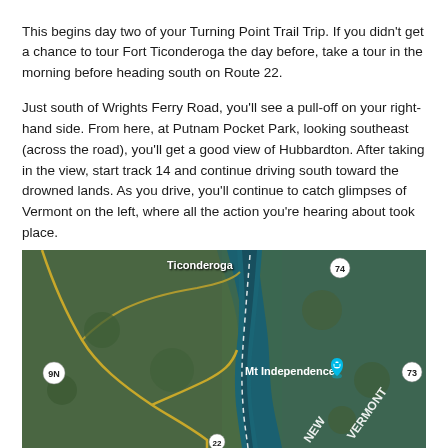This begins day two of your Turning Point Trail Trip. If you didn't get a chance to tour Fort Ticonderoga the day before, take a tour in the morning before heading south on Route 22.
Just south of Wrights Ferry Road, you'll see a pull-off on your right-hand side. From here, at Putnam Pocket Park, looking southeast (across the road), you'll get a good view of Hubbardton. After taking in the view, start track 14 and continue driving south toward the drowned lands. As you drive, you'll continue to catch glimpses of Vermont on the left, where all the action you're hearing about took place.
[Figure (map): Aerial/satellite map showing the area around Ticonderoga and Mt Independence, with Lake Champlain visible, state border between New York and Vermont shown as dashed white line, route markers 74, 9N, 73, 22 visible, and a location pin on Mt Independence.]